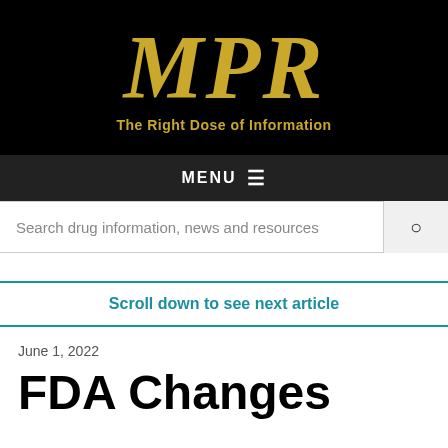[Figure (logo): MPR logo with tagline 'The Right Dose of Information' on black background]
MENU ☰
Search drug information, news and resources
Scroll down to see next article
June 1, 2022
FDA Changes